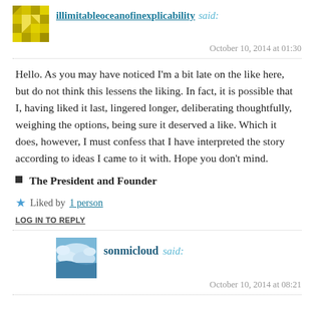illimitableoceanofinexplicability said:
October 10, 2014 at 01:30
Hello. As you may have noticed I'm a bit late on the like here, but do not think this lessens the liking. In fact, it is possible that I, having liked it last, lingered longer, deliberating thoughtfully, weighing the options, being sure it deserved a like. Which it does, however, I must confess that I have interpreted the story according to ideas I came to it with. Hope you don't mind.
The President and Founder
Liked by 1 person
LOG IN TO REPLY
sonmicloud said:
October 10, 2014 at 08:21